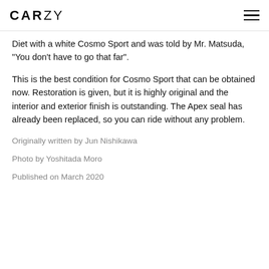CARZY
Diet with a white Cosmo Sport and was told by Mr. Matsuda, "You don't have to go that far".
This is the best condition for Cosmo Sport that can be obtained now. Restoration is given, but it is highly original and the interior and exterior finish is outstanding. The Apex seal has already been replaced, so you can ride without any problem.
Originally written by Jun Nishikawa
Photo by Yoshitada Moro
Published on March 2020